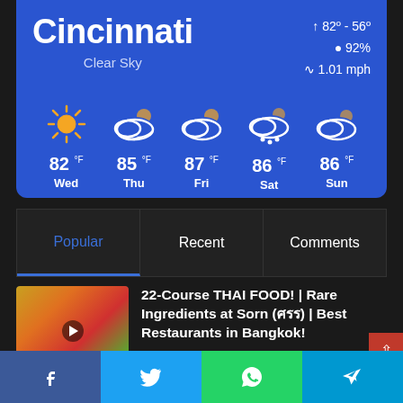[Figure (infographic): Weather widget showing Cincinnati weather: Clear Sky, 82°–56°, 92% humidity, 1.01 mph wind. Five-day forecast: Wed 82°F (sun), Thu 85°F (partly cloudy), Fri 87°F (partly cloudy), Sat 86°F (rain/sleet), Sun 86°F (partly cloudy).]
[Figure (screenshot): Tab navigation bar with three tabs: Popular (active, blue), Recent, Comments]
[Figure (photo): Thumbnail image of Thai food dish with colorful ingredients]
22-Course THAI FOOD! | Rare Ingredients at Sorn (ศรร) | Best Restaurants in Bangkok!
April 22, 2020
[Figure (infographic): Social media share bar with Facebook, Twitter, WhatsApp, and Telegram buttons]